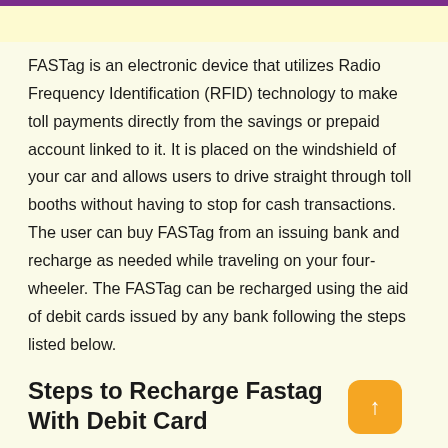FASTag is an electronic device that utilizes Radio Frequency Identification (RFID) technology to make toll payments directly from the savings or prepaid account linked to it. It is placed on the windshield of your car and allows users to drive straight through toll booths without having to stop for cash transactions. The user can buy FASTag from an issuing bank and recharge as needed while traveling on your four-wheeler. The FASTag can be recharged using the aid of debit cards issued by any bank following the steps listed below.
Steps to Recharge Fastag With Debit Card
1. Login to The FASTAg Portal of your fastag issuing